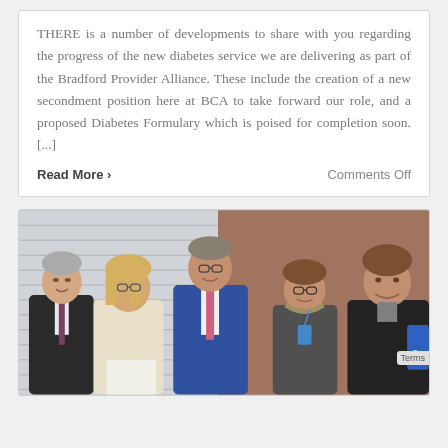THERE is a number of developments to share with you regarding the progress of the new diabetes service we are delivering as part of the Bradford Provider Alliance. These include the creation of a new secondment position here at BCA to take forward our role, and a proposed Diabetes Formulary which is poised for completion soon. [...]
Read More ›
Comments Off
[Figure (photo): Group photo of five people (three men and two women) smiling, posed indoors in front of window blinds and a brick wall. One woman in the centre is holding a document.]